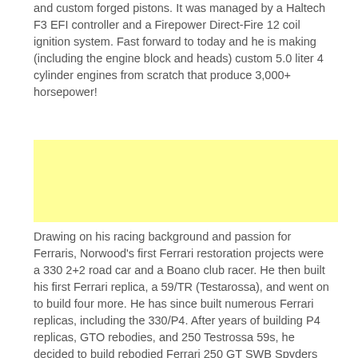and custom forged pistons. It was managed by a Haltech F3 EFI controller and a Firepower Direct-Fire 12 coil ignition system. Fast forward to today and he is making (including the engine block and heads) custom 5.0 liter 4 cylinder engines from scratch that produce 3,000+ horsepower!
[Figure (other): Yellow advertisement/placeholder box]
Drawing on his racing background and passion for Ferraris, Norwood's first Ferrari restoration projects were a 330 2+2 road car and a Boano club racer. He then built his first Ferrari replica, a 59/TR (Testarossa), and went on to build four more. He has since built numerous Ferrari replicas, including the 330/P4. After years of building P4 replicas, GTO rebodies, and 250 Testrossa 59s, he decided to build rebodied Ferrari 250 GT SWB Spyders (scroll down to learn more about the…and his 330 P4s).